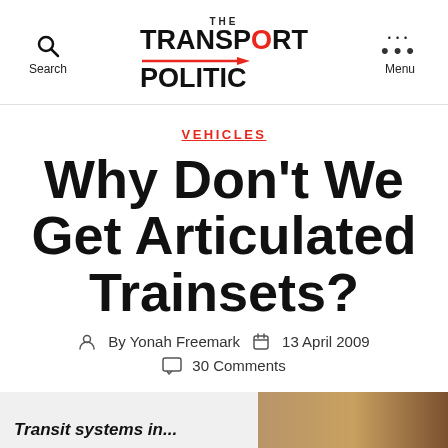Search | THE TRANSPORT POLITIC | Menu
VEHICLES
Why Don't We Get Articulated Trainsets?
By Yonah Freemark   13 April 2009
30 Comments
Transit systems in...